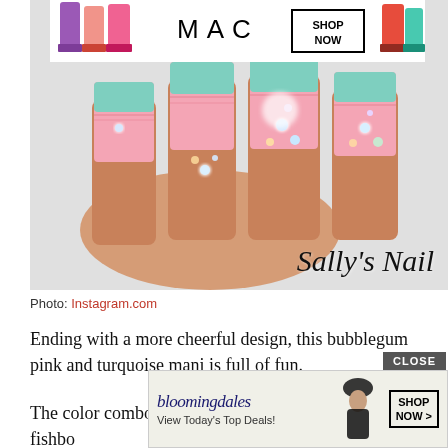[Figure (photo): Close-up photo of decorated fingernails with bubblegum pink and turquoise/mint polish with rhinestone jewels, resting on a white fluffy surface. A MAC cosmetics advertisement banner appears at the top of the photo.]
Photo: Instagram.com
Ending with a more cheerful design, this bubblegum pink and turquoise mani is full of fun.
The color combo is fetching and with the shadowy fishbo… …nicure bubbli…
[Figure (other): Bloomingdale's advertisement overlay at bottom: 'bloomingdales View Today's Top Deals!' with a model in a hat and SHOP NOW > button. A CLOSE button appears above it.]